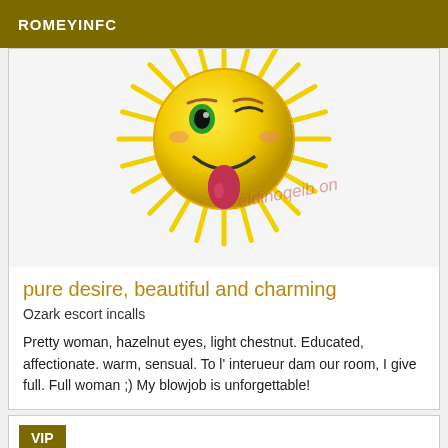ROMEYINFC
[Figure (illustration): Winking smiley face emoji with tongue out, yellow with sunburst rays, on white background. Watermark text 'eldinoqeib on' in diagonal pink/red italic text.]
pure desire, beautiful and charming
Ozark escort incalls
Pretty woman, hazelnut eyes, light chestnut. Educated, affectionate. warm, sensual. To l' interueur dam our room, I give full. Full woman ;) My blowjob is unforgettable!
VIP